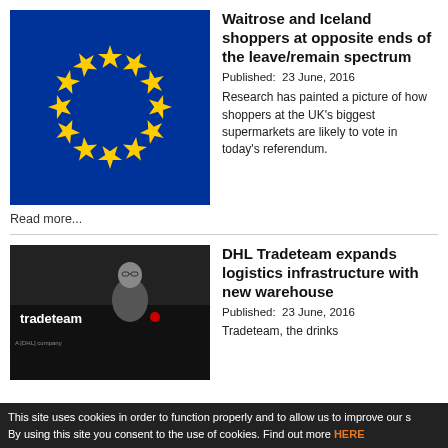[Figure (illustration): EU flag — blue background with circle of 12 gold stars]
Waitrose and Iceland shoppers at opposite ends of the leave/remain spectrum
Published:  23 June, 2016
Research has painted a picture of how shoppers at the UK's biggest supermarkets are likely to vote in today's referendum.
Read more...
[Figure (photo): Man in suit standing in front of a DHL Tradeteam branded truck]
DHL Tradeteam expands logistics infrastructure with new warehouse
Published:  23 June, 2016
Tradeteam, the drinks
This site uses cookies in order to function properly and to allow us to improve our s By using this site you consent to the use of cookies. Find out more HERE